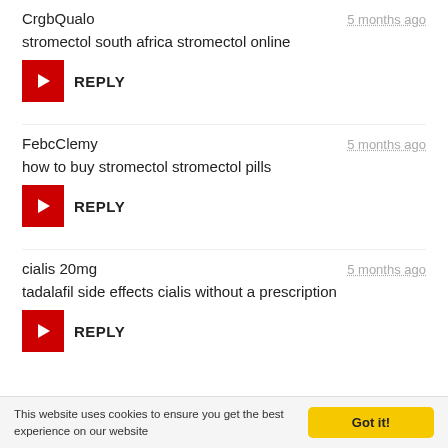CrgbQualo
5 months ago
stromectol south africa stromectol online
REPLY
FebcClemy
5 months ago
how to buy stromectol stromectol pills
REPLY
cialis 20mg
5 months ago
tadalafil side effects cialis without a prescription
REPLY
This website uses cookies to ensure you get the best experience on our website
Got it!